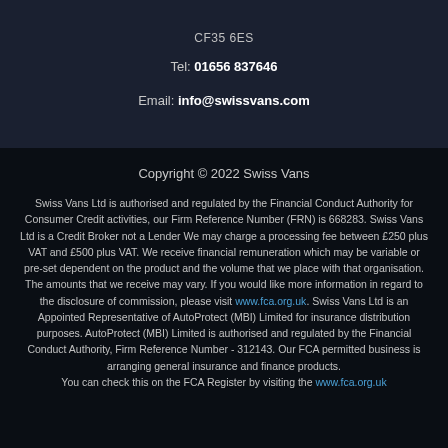CF35 6ES
Tel: 01656 837646
Email: info@swissvans.com
Copyright © 2022 Swiss Vans
Swiss Vans Ltd is authorised and regulated by the Financial Conduct Authority for Consumer Credit activities, our Firm Reference Number (FRN) is 668283. Swiss Vans Ltd is a Credit Broker not a Lender We may charge a processing fee between £250 plus VAT and £500 plus VAT. We receive financial remuneration which may be variable or pre-set dependent on the product and the volume that we place with that organisation. The amounts that we receive may vary. If you would like more information in regard to the disclosure of commission, please visit www.fca.org.uk. Swiss Vans Ltd is an Appointed Representative of AutoProtect (MBI) Limited for insurance distribution purposes. AutoProtect (MBI) Limited is authorised and regulated by the Financial Conduct Authority, Firm Reference Number - 312143. Our FCA permitted business is arranging general insurance and finance products. You can check this on the FCA Register by visiting the www.fca.org.uk